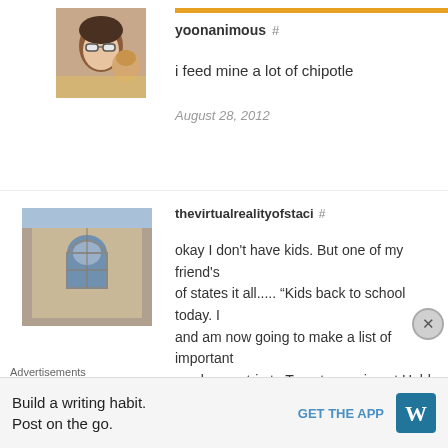[Figure (photo): Profile photo of yoonanimous: woman with sunglasses with a child]
yoonanimous #
i feed mine a lot of chipotle
August 28, 2012
[Figure (photo): Profile photo of thevirtualrealityofstaci: stone building with arched window]
thevirtualrealityofstaci #
okay I don't have kids. But one of my friend's of states it all..... “Kids back to school today. I and am now going to make a list of important week. e.g.: trip to Target, morning at Hobby Lo paint my toes (or maybe even get them painte minutes 'cause I don't have to buckle, unb
Advertisements
Build a writing habit.
Post on the go.
GET THE APP